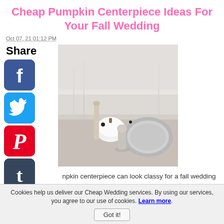Cheap Pumpkin Centerpiece Ideas For Your Fall Wedding
Oct 07, 21 01:12 PM
Share
[Figure (photo): White pumpkin centerpiece on a table with silver plates and glassware, elegant fall wedding table setting]
npkin centerpiece can look classy for a fall wedding and they are a really cheap decoration
Read More
◄ Cheap Wedding Dresses For 2021
Cookies help us deliver our Cheap Wedding services. By using our services, you agree to our use of cookies. Learn more.
Got it!